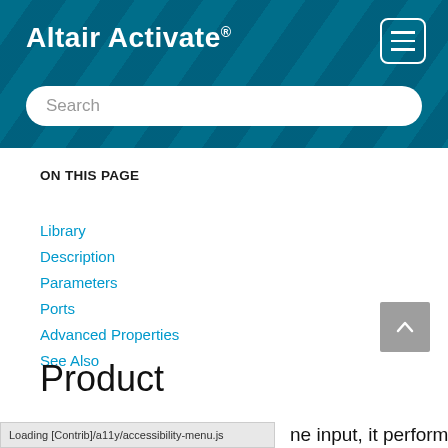Altair Activate®
Search
ON THIS PAGE
Library
Description
Parameters
Ports
Advanced Properties
See Also
Product
Loading [Contrib]/a11y/accessibility-menu.js    ne input, it performs